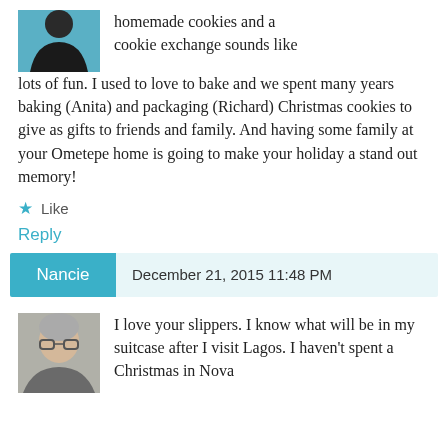[Figure (photo): Small square profile photo of a person in a black tank top against a blue background]
homemade cookies and a cookie exchange sounds like lots of fun. I used to love to bake and we spent many years baking (Anita) and packaging (Richard) Christmas cookies to give as gifts to friends and family. And having some family at your Ometepe home is going to make your holiday a stand out memory!
★ Like
Reply
Nancie  December 21, 2015 11:48 PM
[Figure (photo): Small square profile photo of a woman with glasses and short gray hair]
I love your slippers. I know what will be in my suitcase after I visit Lagos. I haven't spent a Christmas in Nova